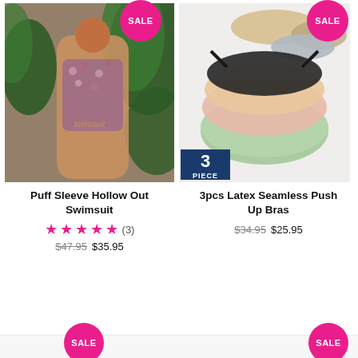[Figure (photo): Woman wearing a puff sleeve hollow out floral swimsuit in a tropical setting with plants and stone wall]
[Figure (photo): Three latex seamless push-up bras in multiple colors (sage green, pink, black, beige) displayed on white surface with hats; blue badge showing '3 PIECE']
Puff Sleeve Hollow Out Swimsuit
★★★★★ (3)
$47.95 $35.95
3pcs Latex Seamless Push Up Bras
$34.95 $25.95